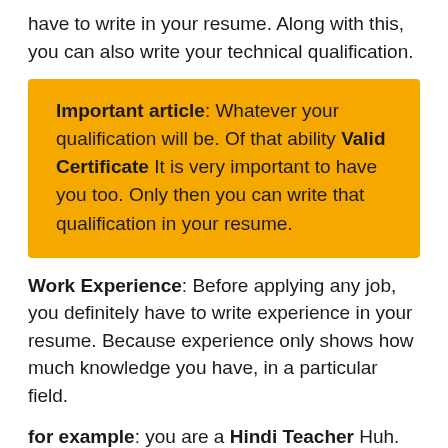have to write in your resume. Along with this, you can also write your technical qualification.
Important article: Whatever your qualification will be. Of that ability Valid Certificate It is very important to have you too. Only then you can write that qualification in your resume.
Work Experience: Before applying any job, you definitely have to write experience in your resume. Because experience only shows how much knowledge you have, in a particular field.
for example: you are a Hindi Teacher Huh. And you have been teaching Hindi for 5 years. Now that will be your experience Hindi To teach, that